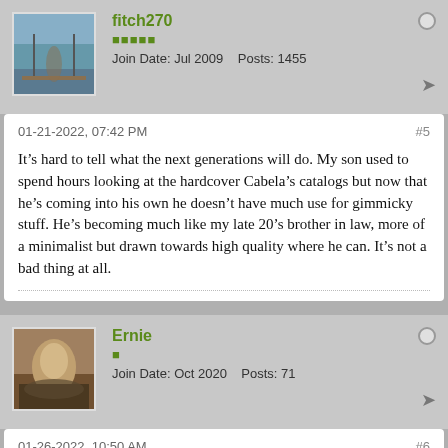fitch270
Join Date: Jul 2009    Posts: 1455
01-21-2022, 07:42 PM
#5
It’s hard to tell what the next generations will do. My son used to spend hours looking at the hardcover Cabela’s catalogs but now that he’s coming into his own he doesn’t have much use for gimmicky stuff. He’s becoming much like my late 20’s brother in law, more of a minimalist but drawn towards high quality where he can. It’s not a bad thing at all.
Ernie
Join Date: Oct 2020    Posts: 71
01-26-2022, 10:50 AM
#6